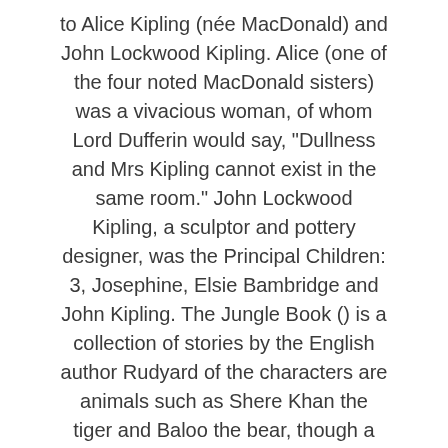to Alice Kipling (née MacDonald) and John Lockwood Kipling. Alice (one of the four noted MacDonald sisters) was a vivacious woman, of whom Lord Dufferin would say, "Dullness and Mrs Kipling cannot exist in the same room." John Lockwood Kipling, a sculptor and pottery designer, was the Principal Children: 3, Josephine, Elsie Bambridge and John Kipling. The Jungle Book () is a collection of stories by the English author Rudyard of the characters are animals such as Shere Khan the tiger and Baloo the bear, though a principal character is the boy or "man-cub" Mowgli, who is raised in the jungle by stories are set in a forest in India; one place mentioned repeatedly is "Seonee" (), in the central state of Madhya : Rudyard Kipling.   Directed by Stephen Sommers. With Jason Scott Lee, Cary Elwes, Lena Headey, Sam Neill. Rudyard Kipling's classic tale of Mowgli, the orphaned jungle boy raised by wild